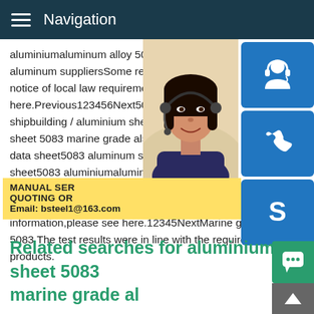Navigation
aluminiumaluminum alloy 5083aluminum 5... aluminum suppliersSome results are removed in response to a notice of local law requirement.For more information,please see here.Previous123456Next5083 marine grade aluminium sheet / aluminium sheetRelated searches for aluminium sheet 5083 marine grade al5083 aluminum sheet data sheet5083 aluminum sheet supplierss sheet5083 aluminiumaluminum alloy 5083 h1165083 aluminum suppliersSome results are removed in response to a notice of local law requirement. For more information,please see here.12345NextMarine grade aluminium 5083 The test results were in line with the requirements of marine products.
[Figure (photo): Woman with headset smiling, customer service representative photo]
[Figure (infographic): Blue icon buttons for customer service (headset), phone, and Skype, plus yellow promo box with MANUAL SERVICE QUOTING ORDER text and Email: bsteel1@163.com]
Related searches for aluminium sheet 5083 marine grade al